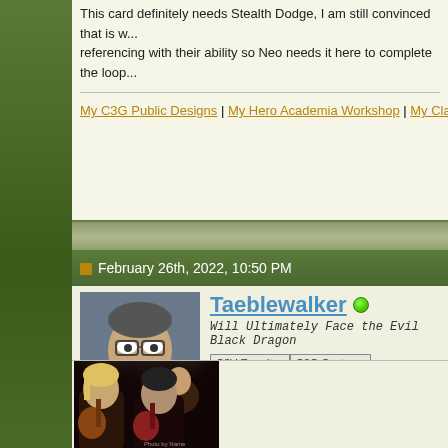This card definitely needs Stealth Dodge, I am still convinced that is w... referencing with their ability so Neo needs it here to complete the loop...
My C3G Public Designs | My Hero Academia Workshop | My Classic C...
February 26th, 2022, 10:50 PM
[Figure (photo): Profile photo of forum user Taeblewalker, a man wearing glasses and a grey t-shirt]
Taeblewalker (online)
Will Ultimately Face the Evil Black Dragon
C3V Emeritus | C3G Customs | Site Supporter | Unit Strategy
Re: Out-there Heaven (Movie, TV, and Video Game Characters)
Neo by HoF
It would be interesting to compare this to what you guys come up with...
[Figure (photo): Concert photo showing two musicians playing guitars on a dark stage with dramatic lighting]